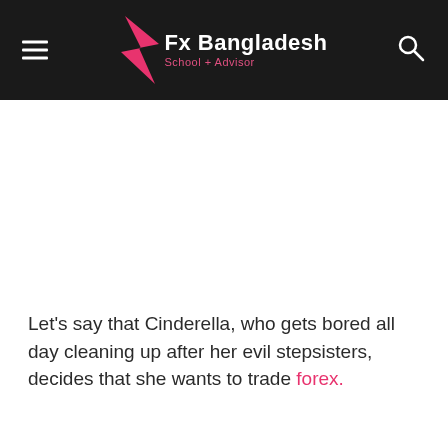Fx Bangladesh School + Advisor
Let's say that Cinderella, who gets bored all day cleaning up after her evil stepsisters, decides that she wants to trade forex.